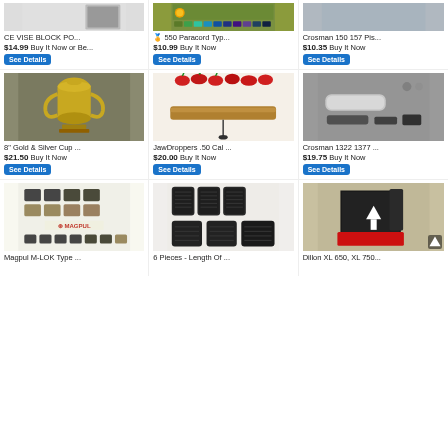[Figure (screenshot): eBay product listing grid showing 9 items in 3 columns and 3 rows. Row 1: CE VISE BLOCK PO... $14.99 Buy It Now or Be..., 550 Paracord Typ... $10.99 Buy It Now, Crosman 150 157 Pis... $10.35 Buy It Now. Row 2: 8" Gold & Silver Cup ... $21.50 Buy It Now, JawDroppers .50 Cal ... $20.00 Buy It Now, Crosman 1322 1377 ... $19.75 Buy It Now. Row 3: Magpul M-LOK Type ... (price cut off), 6 Pieces - Length Of ... (price cut off), Dillon XL 650, XL 750... (price cut off).]